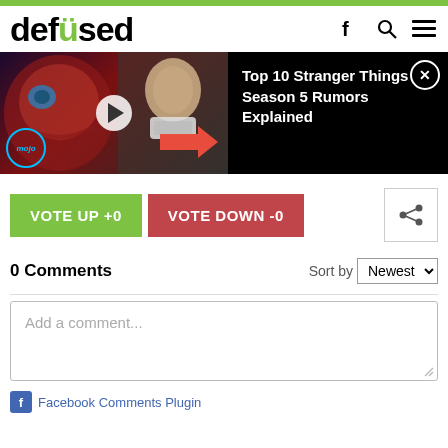defused
[Figure (screenshot): Video thumbnail showing a monster/alien face and a person in a neck brace from Stranger Things, with a red arrow and play button overlay. Mojo logo badge visible.]
Top 10 Stranger Things Season 5 Rumors Explained
VOTE UP +0
VOTE DOWN -0
0 Comments
Sort by Newest
Add a comment...